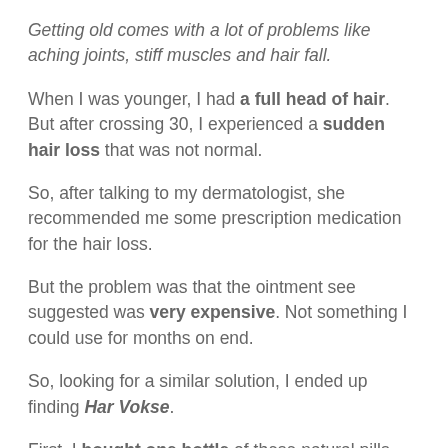Getting old comes with a lot of problems like aching joints, stiff muscles and hair fall.
When I was younger, I had a full head of hair. But after crossing 30, I experienced a sudden hair loss that was not normal.
So, after talking to my dermatologist, she recommended me some prescription medication for the hair loss.
But the problem was that the ointment see suggested was very expensive. Not something I could use for months on end.
So, looking for a similar solution, I ended up finding Har Vokse.
First, I bought one bottle of these natural pills.